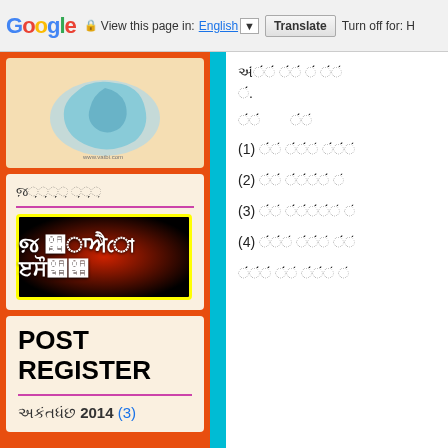Google  View this page in: English [▼]  Translate  Turn off for: H
[Figure (map): Map of Indian state/district shown in blue/teal tones]
જિલ્લાઓ સૂચિ
[Figure (illustration): Banner image with Gujarati text 'જિલ્લાઓ પ઼િ઼યયય' on dark red gradient background with yellow border]
POST REGISTER
ઓક્ટોબ઼ 2014 (3)
ઓઓઓઓઓઓઓ ઓઓઓઓ ઓઓ ઓઓઓ ઓઓ.
ઓઓઓઓ    ઓઓઓ
(1) ઓઓઓ ઓઓઓઓઓ ઓઓઓઓઓ
(2) ઓઓઓઓ ઓઓઓઓઓઓઓઓ ઓ
(3) ઓઓઓ ઓઓઓઓઓઓઓઓઓ ઓ
(4) ઓઓઓઓઓ ઓઓઓઓઓ ઓઓઓ
ઓઓઓઓઓઓ ઓઓઓ ઓઓઓઓઓ ઓ